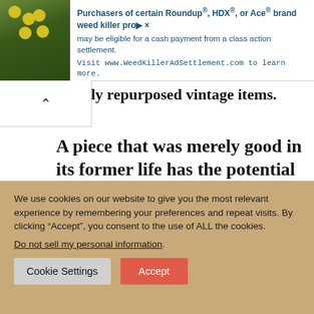[Figure (screenshot): Advertisement banner for Roundup/HDX/Ace weed killer class action settlement with plant image background]
ly repurposed vintage items.
A piece that was merely good in its former life has the potential to be fabulous in its repurposed one.
[Figure (photo): Partial photo of a decorative item, brownish tones]
We use cookies on our website to give you the most relevant experience by remembering your preferences and repeat visits. By clicking “Accept”, you consent to the use of ALL the cookies.
Do not sell my personal information.
Cookie Settings   Accept